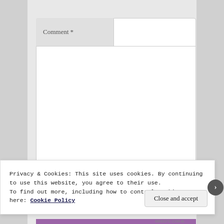[Figure (screenshot): A web browser screenshot showing a comment form textarea with label 'Comment *' and a cookie consent banner overlay at the bottom. The banner text reads 'Privacy & Cookies: This site uses cookies. By continuing to use this website, you agree to their use. To find out more, including how to control cookies, see here: Cookie Policy' with a 'Close and accept' button.]
Privacy & Cookies: This site uses cookies. By continuing to use this website, you agree to their use.
To find out more, including how to control cookies, see here: Cookie Policy
Close and accept